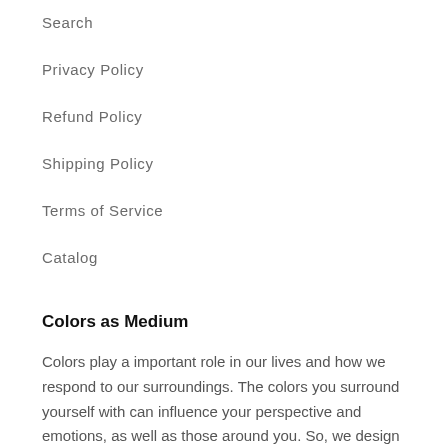Search
Privacy Policy
Refund Policy
Shipping Policy
Terms of Service
Catalog
Colors as Medium
Colors play a important role in our lives and how we respond to our surroundings. The colors you surround yourself with can influence your perspective and emotions, as well as those around you. So, we design